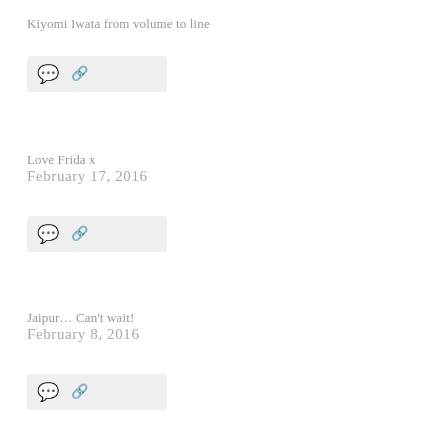Kiyomi Iwata from volume to line
[Figure (other): Icon bar with comment bubble and share icon]
Love Frida x
February 17, 2016
[Figure (other): Icon bar with comment bubble and share icon]
Jaipur… Can't wait!
February 8, 2016
[Figure (other): Icon bar with comment bubble and share icon]